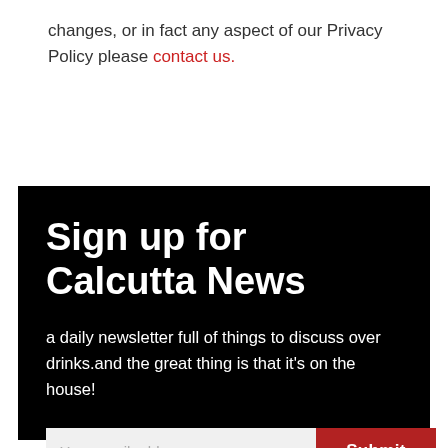changes, or in fact any aspect of our Privacy Policy please contact us.
Sign up for Calcutta News
a daily newsletter full of things to discuss over drinks.and the great thing is that it's on the house!